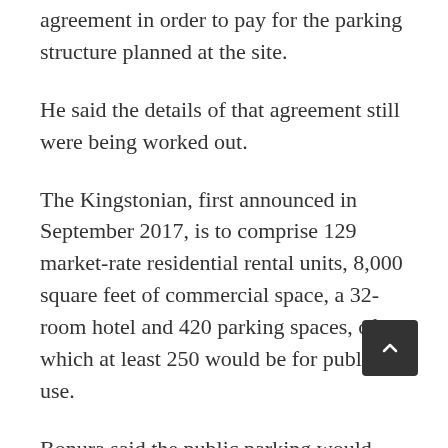agreement in order to pay for the parking structure planned at the site.
He said the details of that agreement still were being worked out.
The Kingstonian, first announced in September 2017, is to comprise 129 market-rate residential rental units, 8,000 square feet of commercial space, a 32-room hotel and 420 parking spaces, of which at least 250 would be for public use.
Bonura said the public parking would likely be available for $1.50 per hour, or $60 per month for a dedicated space in the garage.